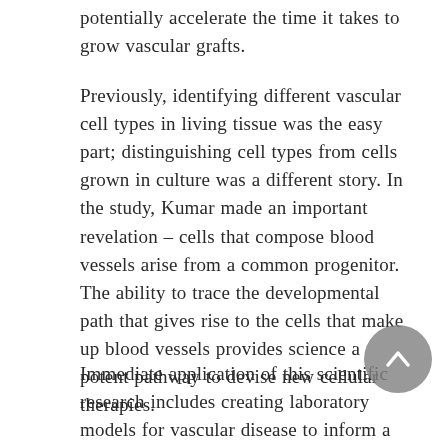potentially accelerate the time it takes to grow vascular grafts.
Previously, identifying different vascular cell types in living tissue was the easy part; distinguishing cell types from cells grown in culture was a different story. In the study, Kumar made an important revelation – cells that compose blood vessels arise from a common progenitor. The ability to trace the developmental path that gives rise to the cells that make up blood vessels provides science a potent pathway to devise new cellular therapies.
Immediate application of this scientific research includes creating laboratory models for vascular disease to inform a better basic understanding of what goes wrong in killers such as coronary artery disease and certain genetic diseases that affect vasculature. Moreover, these cells can be used in high-throughput drug screens, accelerating the